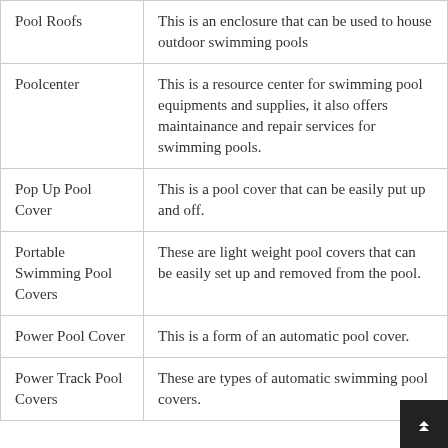| Term | Definition |
| --- | --- |
| Pool Roofs | This is an enclosure that can be used to house outdoor swimming pools |
| Poolcenter | This is a resource center for swimming pool equipments and supplies, it also offers maintainance and repair services for swimming pools. |
| Pop Up Pool Cover | This is a pool cover that can be easily put up and off. |
| Portable Swimming Pool Covers | These are light weight pool covers that can be easily set up and removed from the pool. |
| Power Pool Cover | This is a form of an automatic pool cover. |
| Power Track Pool Covers | These are types of automatic swimming pool covers. |